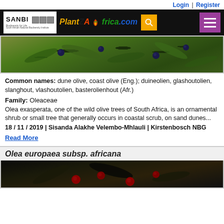Login | Register
[Figure (photo): SANBI and PlantZAfrica.com website navigation bar with logo, search button, and hamburger menu]
[Figure (photo): Close-up photo of olive plant with dark berries and green leaves on grey-green background]
Common names: dune olive, coast olive (Eng.); duineolien, glashoutolien, slanghout, vlashoutolien, basterolienhout (Afr.)
Family: Oleaceae
Olea exasperata, one of the wild olive trees of South Africa, is an ornamental shrub or small tree that generally occurs in coastal scrub, on sand dunes...
18 / 11 / 2019 | Sisanda Alakhe Velembo-Mhlauli | Kirstenbosch NBG
Read More
Olea europaea subsp. africana
[Figure (photo): Close-up photo of olive plant with dark red berries and dark leaves]